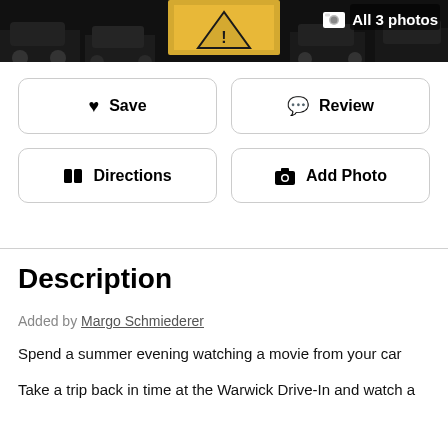[Figure (photo): Dark nighttime photo of a drive-in movie theater with cars and a bright screen, with overlay text showing image gallery button]
All 3 photos
Save
Review
Directions
Add Photo
Description
Added by Margo Schmiederer
Spend a summer evening watching a movie from your car
Take a trip back in time at the Warwick Drive-In and watch a